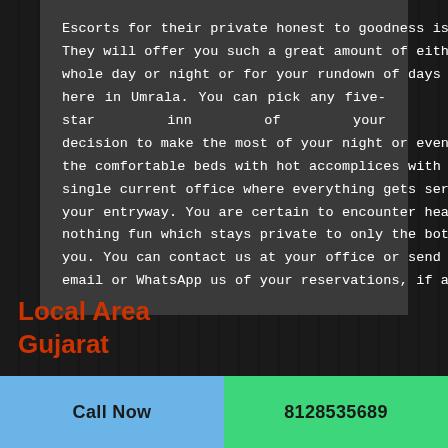Escorts for their private honest to goodness issue. They will offer you such a great amount of either for a whole day or night or for your rundown of days you are here in Umrala. You can pick any five-star inn of your decision to make the most of your night or evenings in the comfortable beds with hot accomplices with every single current office where everything gets served at your entryway. You are certain to encounter heaps of nothing fun which stays private to only the both of you. You can contact us at your office or send us an email or WhatsApp us of your reservations, if any.
Local Area Gujarat
Call Now   8128535689